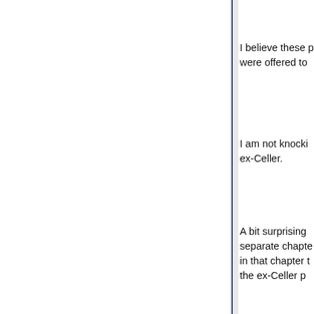I believe these p were offered to
I am not knocki ex-Celler.
A bit surprising separate chapte in that chapter t the ex-Celler p something -- jus
Regards // ioag
EDIT add on co
In fairness to R catalog chapter
Lots 1370-1392